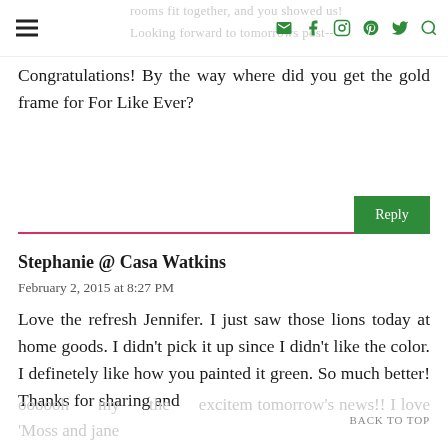rooms fit together, and you showed us! Looking forward to tomorrows post--
Congratulations! By the way where did you get the gold frame for For Like Ever?
Reply
Stephanie @ Casa Watkins
February 2, 2015 at 8:27 PM
Love the refresh Jennifer. I just saw those lions today at home goods. I didn't pick it up since I didn't like the color. I definetely like how you painted it green. So much better! Thanks for sharing and
oooooh my the excitem tomorrow's news!! I love 'Moss and jane BACK TO TOP